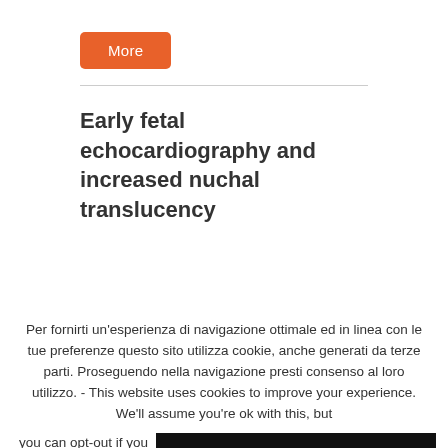More
Early fetal echocardiography and increased nuchal translucency
Per fornirti un'esperienza di navigazione ottimale ed in linea con le tue preferenze questo sito utilizza cookie, anche generati da terze parti. Proseguendo nella navigazione presti consenso al loro utilizzo. - This website uses cookies to improve your experience. We'll assume you're ok with this, but you can opt-out if you wish.
Accetto - Accept
Cosa sono i cookie - Continua a leggere - Read More